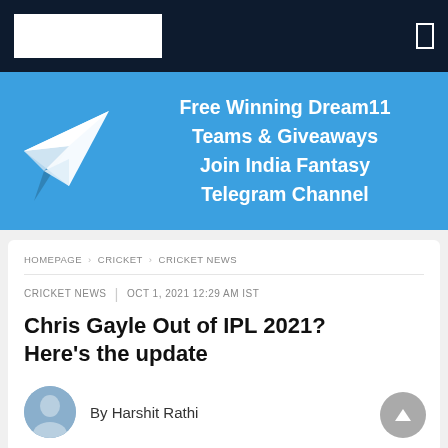[Navigation bar with logo and menu icon]
[Figure (illustration): Telegram channel promotional banner with paper plane icon and text: Free Winning Dream11 Teams & Giveaways Join India Fantasy Telegram Channel]
HOMEPAGE › CRICKET › CRICKET NEWS
CRICKET NEWS | Oct 1, 2021 12:29 AM IST
Chris Gayle Out of IPL 2021? Here's the update
By Harshit Rathi